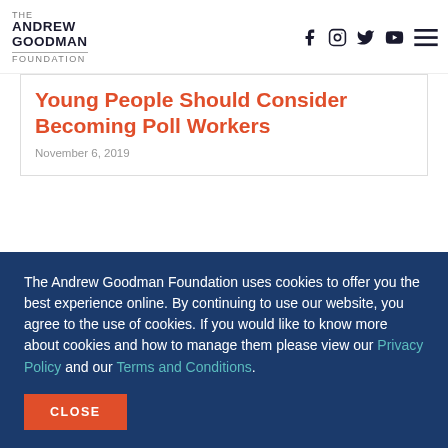THE ANDREW GOODMAN FOUNDATION
Young People Should Consider Becoming Poll Workers
November 6, 2019
The Andrew Goodman Foundation uses cookies to offer you the best experience online. By continuing to use our website, you agree to the use of cookies. If you would like to know more about cookies and how to manage them please view our Privacy Policy and our Terms and Conditions.
CLOSE